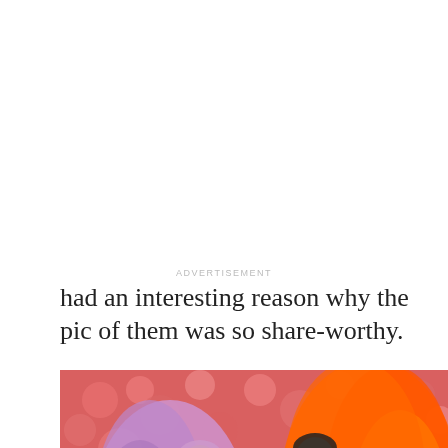had an interesting reason why the pic of them was so share-worthy.
ADVERTISEMENT
[Figure (photo): Two women posing at what appears to be the Met Gala in front of a pink floral wall. The woman on the left wears a lavender/lilac crystal embellished form-fitting gown with purple feather wings and has purple hair. The woman on the right wears an orange feathered dress with large orange feather wings and dark hair pulled back.]